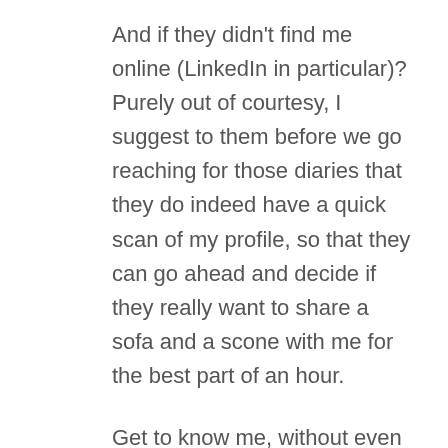And if they didn't find me online (LinkedIn in particular)? Purely out of courtesy, I suggest to them before we go reaching for those diaries that they do indeed have a quick scan of my profile, so that they can go ahead and decide if they really want to share a sofa and a scone with me for the best part of an hour.
Get to know me, without even leaving your laptop.
I really do love being sociable and meeting new people, but I like to put us both in a position where we know it's likely going to be worth it and that we'll definitely bring something good into each other's lives. Otherwise, I'm not going to waste your